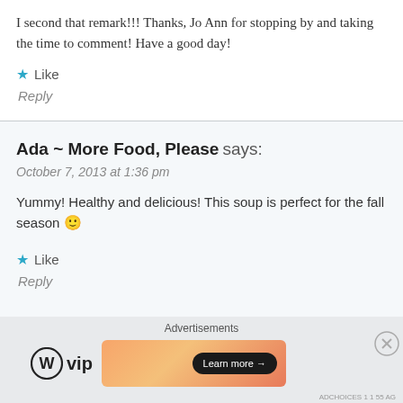I second that remark!!! Thanks, Jo Ann for stopping by and taking the time to comment! Have a good day!
Like
Reply
Ada ~ More Food, Please says:
October 7, 2013 at 1:36 pm
Yummy! Healthy and delicious! This soup is perfect for the fall season 🙂
Like
Reply
Advertisements
[Figure (logo): WordPress VIP logo with circle W icon and 'vip' text]
[Figure (screenshot): Advertisement banner with orange/peach gradient and 'Learn more →' button]